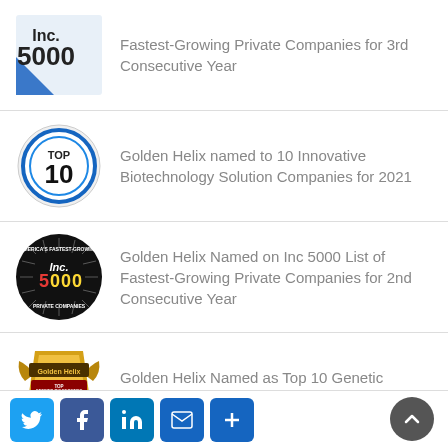Fastest-Growing Private Companies for 3rd Consecutive Year
Golden Helix named to 10 Innovative Biotechnology Solution Companies for 2021
Golden Helix Named on Inc 5000 List of Fastest-Growing Private Companies for 2nd Consecutive Year
Golden Helix Named as Top 10 Genetic Diagnostics Companies of 2020
Twitter Facebook LinkedIn Email Share · Scroll to top